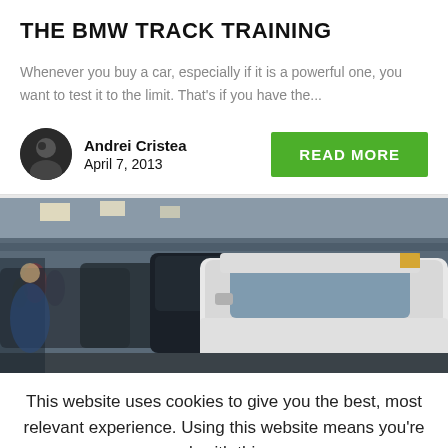THE BMW TRACK TRAINING
Whenever you buy a car, especially if it is a powerful one, you want to test it to the limit. That's if you have the...
Andrei Cristea
April 7, 2013
[Figure (photo): BMW cars on an assembly line in a factory, with workers visible in the background]
This website uses cookies to give you the best, most relevant experience. Using this website means you're ok with this.
Accept  Read More